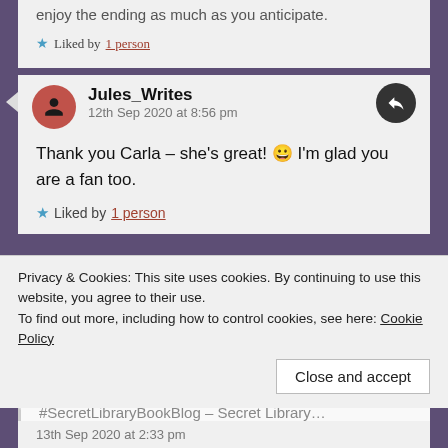enjoy the ending as much as you anticipate.
Liked by 1 person
Jules_Writes
12th Sep 2020 at 8:56 pm
Thank you Carla – she's great! 😀 I'm glad you are a fan too.
Liked by 1 person
Pingback: Links I've Enjoyed This Week – 13/09/2020 #WeeklyRoundUpPost 🔗📅🔗 #SecretLibraryBookBlog – Secret Library
Privacy & Cookies: This site uses cookies. By continuing to use this website, you agree to their use.
To find out more, including how to control cookies, see here: Cookie Policy
Close and accept
13th Sep 2020 at 2:33 pm